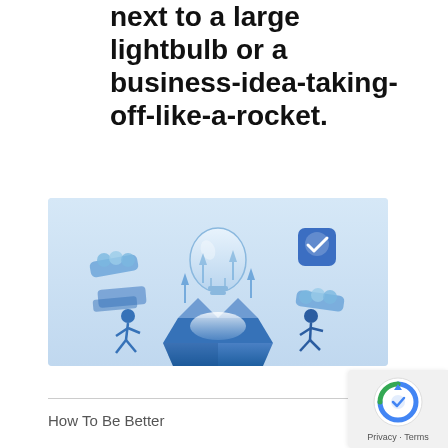next to a large lightbulb or a business-idea-taking-off-like-a-rocket.
[Figure (illustration): Business idea illustration: a large lightbulb floating above an open blue box with glowing light, surrounded by two animated people, coins/money, arrows pointing up, and a checkmark icon on a blue square background, in a blue and white color scheme.]
How To Be Better